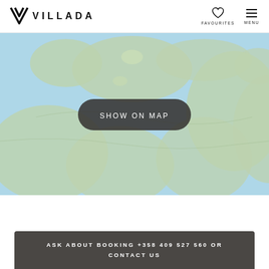VILLADA — FAVOURITES / MENU
[Figure (map): A blurred map of Europe showing land masses in muted green and water in light blue, used as a background for a property listing website.]
SHOW ON MAP
ASK ABOUT BOOKING +358 409 527 560 OR CONTACT US